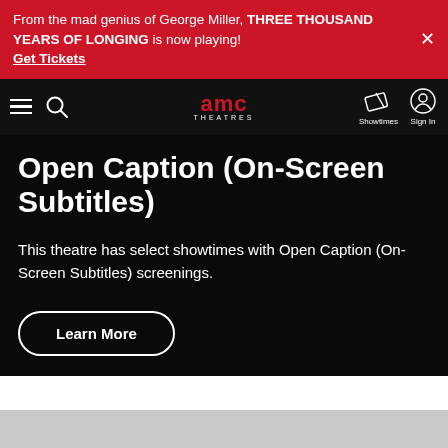From the mad genius of George Miller, THREE THOUSAND YEARS OF LONGING is now playing! Get Tickets
[Figure (screenshot): AMC Theatres navigation bar with hamburger menu, search icon, AMC Theatres logo, Showtimes icon, and Sign In icon]
Open Caption (On-Screen Subtitles)
This theatre has select showtimes with Open Caption (On-Screen Subtitles) screenings.
Learn More